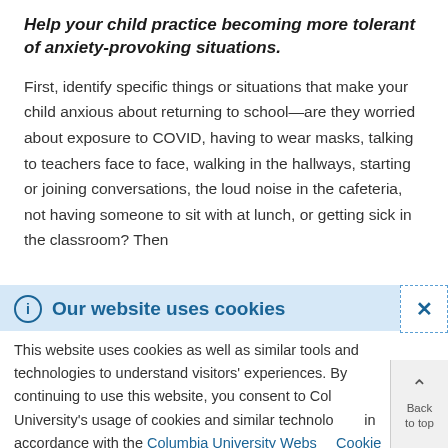Help your child practice becoming more tolerant of anxiety-provoking situations.
First, identify specific things or situations that make your child anxious about returning to school—are they worried about exposure to COVID, having to wear masks, talking to teachers face to face, walking in the hallways, starting or joining conversations, the loud noise in the cafeteria, not having someone to sit with at lunch, or getting sick in the classroom? Then
Our website uses cookies
This website uses cookies as well as similar tools and technologies to understand visitors' experiences. By continuing to use this website, you consent to Columbia University's usage of cookies and similar technologies in accordance with the Columbia University Website Cookie Notice.